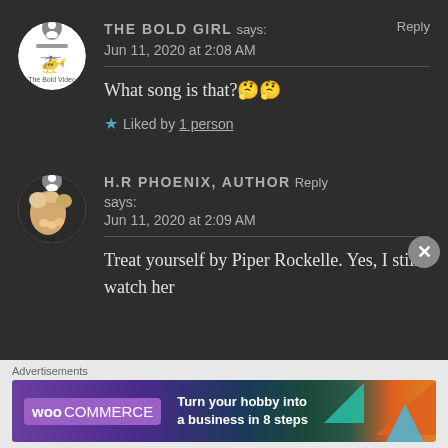THE BOLD GIRL says: Reply
Jun 11, 2020 at 2:08 AM
What song is that?🤔🤔
★ Liked by 1 person
H.R PHOENIX, AUTHOR Reply says:
Jun 11, 2020 at 2:09 AM
Treat yourself by Piper Rockelle. Yes, I still watch her
[Figure (screenshot): WooCommerce advertisement banner: Turn your hobby into a business in 8 steps]
Advertisements